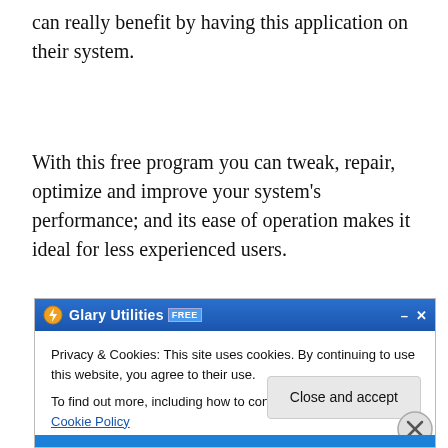can really benefit by having this application on their system.
With this free program you can tweak, repair, optimize and improve your system's performance; and its ease of operation makes it ideal for less experienced users.
[Figure (screenshot): Screenshot of Glary Utilities FREE application window with a cookie consent overlay dialog showing Privacy & Cookies notice and a Close and accept button]